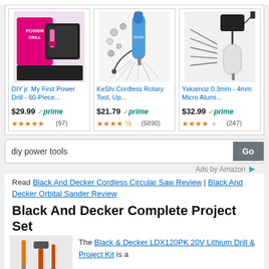[Figure (screenshot): Amazon product card 1: DIY jr. My First Power Drill - 60-Piece... $29.99 Prime, 4.5 stars (97 reviews)]
[Figure (screenshot): Amazon product card 2: KeShi Cordless Rotary Tool, Up... $21.79 Prime, 4.5 stars (5890 reviews)]
[Figure (screenshot): Amazon product card 3: Yakamoz 0.3mm - 4mm Micro Alumi... $32.99 Prime, 4 stars (247 reviews)]
diy power tools
Ads by Amazon
Read Black And Decker Cordless Circular Saw Review | Black And Decker Orbital Sander Review
Black And Decker Complete Project Set
The Black & Decker LDX120PK 20V Lithium Drill & Project Kit is a